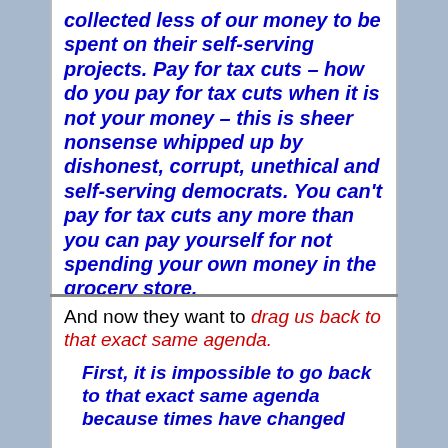collected less of our money to be spent on their self-serving projects. Pay for tax cuts – how do you pay for tax cuts when it is not your money – this is sheer nonsense whipped up by dishonest, corrupt, unethical and self-serving democrats. You can't pay for tax cuts any more than you can pay yourself for not spending your own money in the grocery store.
And now they want to drag us back to that exact same agenda. First, it is impossible to go back to that exact same agenda because times have changed